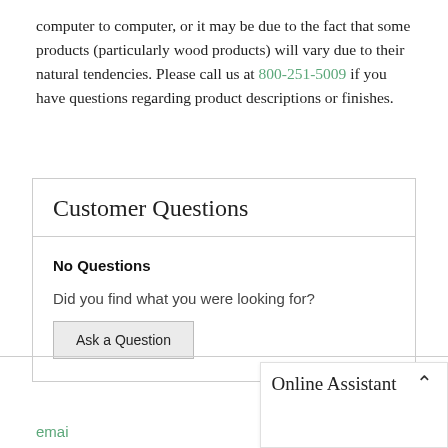computer to computer, or it may be due to the fact that some products (particularly wood products) will vary due to their natural tendencies. Please call us at 800-251-5009 if you have questions regarding product descriptions or finishes.
Customer Questions
No Questions
Did you find what you were looking for?
Ask a Question
Online Assistant
emai